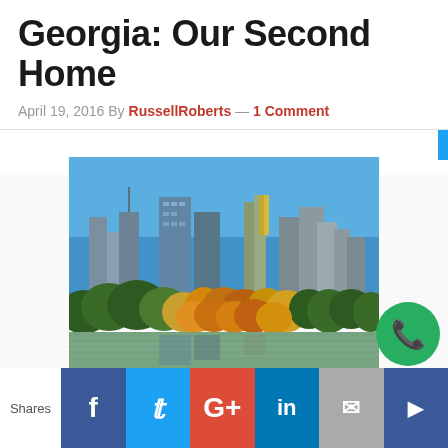Georgia: Our Second Home
April 19, 2016 By RussellRoberts — 1 Comment
[Figure (photo): Atlanta city skyline with tall glass skyscrapers viewed from a park, with autumn foliage trees and a lake in the foreground reflecting the scene, under a clear blue sky]
Shares